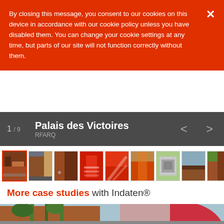By closing this message, you consent to our cookies on this device in accordance with our cookie policy unless you have disabled them. You can change your cookie settings at any time, but parts of our site will not function correctly without them.
1 / 9   Palais des Victoires   RFARQ
[Figure (photo): A horizontal thumbnail strip containing 9 architectural photos of Palais des Victoires, showing exterior and interior views of a building with rusty brown metal cladding and red interior elements.]
More case studies with Indaten®
[Figure (photo): Exterior photo of a building complex with warm wooden-tone metal cladding, green ivy-covered vertical structures, trees, and a large red dome in the background under blue sky.]